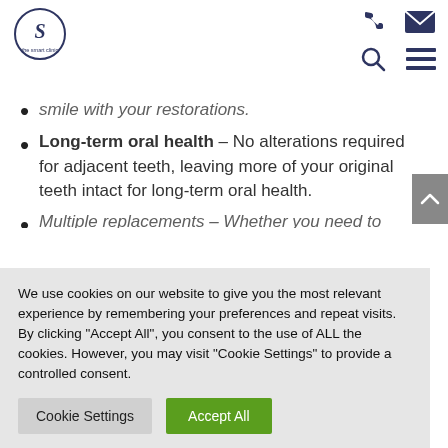The Smart Clinic logo with phone, mail, search, and menu nav icons
smile with your restorations. (partial, cut off at top)
Long-term oral health – No alterations required for adjacent teeth, leaving more of your original teeth intact for long-term oral health.
Multiple replacements – Whether you need to (partial, cut off at bottom)
We use cookies on our website to give you the most relevant experience by remembering your preferences and repeat visits. By clicking "Accept All", you consent to the use of ALL the cookies. However, you may visit "Cookie Settings" to provide a controlled consent.